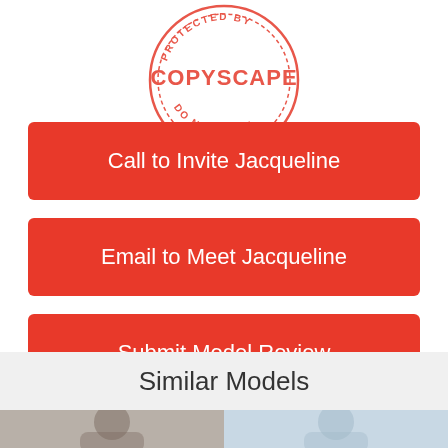[Figure (logo): Copyscape 'Protected by Copyscape - Do Not Copy' circular stamp in red/coral color]
Call to Invite Jacqueline
Email to Meet Jacqueline
Submit Model Review
Similar Models
[Figure (photo): Two thumbnail photos of female models at the bottom of the page]